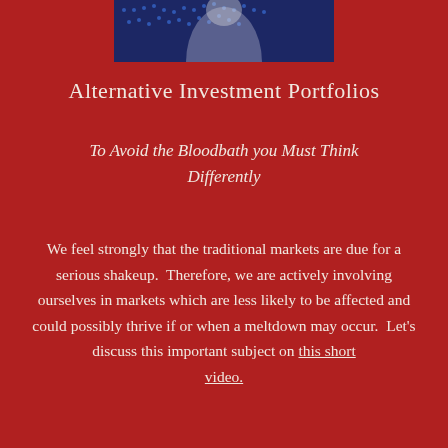[Figure (photo): Partial photo of a person visible at the top center of the page, with blue digital/technology overlay effect]
Alternative Investment Portfolios
To Avoid the Bloodbath you Must Think Differently
We feel strongly that the traditional markets are due for a serious shakeup.  Therefore, we are actively involving ourselves in markets which are less likely to be affected and could possibly thrive if or when a meltdown may occur.  Let's discuss this important subject on this short video.